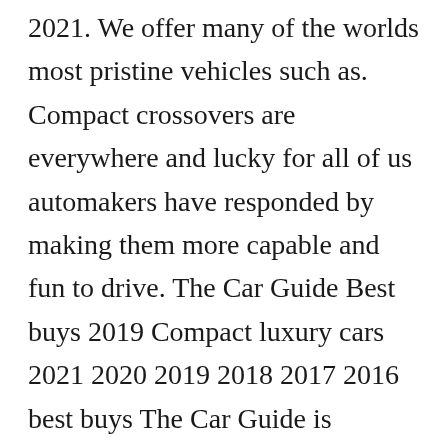2021. We offer many of the worlds most pristine vehicles such as. Compact crossovers are everywhere and lucky for all of us automakers have responded by making them more capable and fun to drive. The Car Guide Best buys 2019 Compact luxury cars 2021 2020 2019 2018 2017 2016 best buys The Car Guide is pleased to share our favourite cars pickups and SUVs for 2019. Platinum Cars specializes in lease and finance of all luxury exotic and sports used car dealership located in Toronto - North York Ontario.